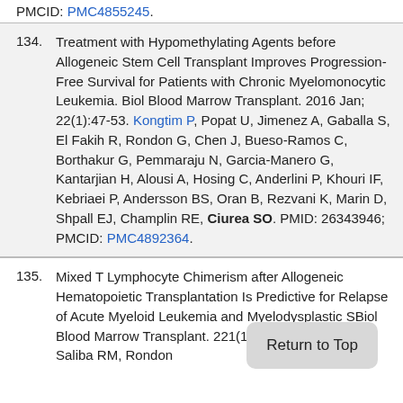PMCID: PMC4855245.
134. Treatment with Hypomethylating Agents before Allogeneic Stem Cell Transplant Improves Progression-Free Survival for Patients with Chronic Myelomonocytic Leukemia. Biol Blood Marrow Transplant. 2016 Jan; 22(1):47-53. Kongtim P, Popat U, Jimenez A, Gaballa S, El Fakih R, Rondon G, Chen J, Bueso-Ramos C, Borthakur G, Pemmaraju N, Garcia-Manero G, Kantarjian H, Alousi A, Hosing C, Anderlini P, Khouri IF, Kebriaei P, Andersson BS, Oran B, Rezvani K, Marin D, Shpall EJ, Champlin RE, Ciurea SO. PMID: 26343946; PMCID: PMC4892364.
135. Mixed T Lymphocyte Chimerism after Allogeneic Hematopoietic Transplantation Is Predictive for Relapse of Acute Myeloid Leukemia and Myelodysplastic S... Biol Blood Marrow Transplant. 2... 21(11):1948-54. Lee HC, Saliba RM, Rondon